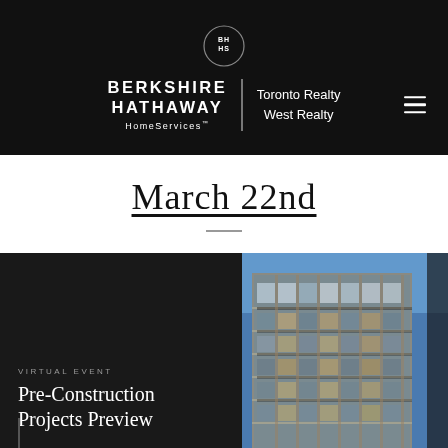BERKSHIRE HATHAWAY HomeServices™ | Toronto Realty West Realty
March 22nd
[Figure (photo): Virtual event promotional banner for Pre-Construction Projects Preview. Left panel: black background with text 'VIRTUAL EVENT / Pre-Construction Projects Preview'. Right panel: photo of a modern multi-story condominium building (glass and concrete facade) against blue sky. Vertical text on right edge reads 'JAMES CONDOS, 2090 JAMES ST, BURLINGTON'.]